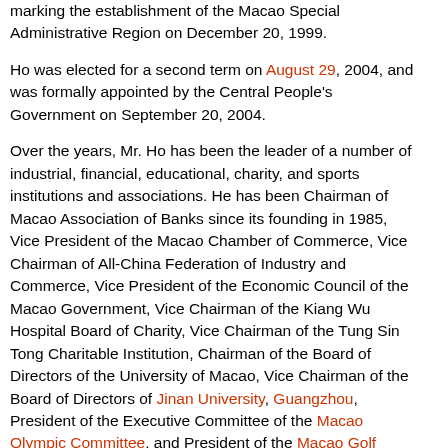marking the establishment of the Macao Special Administrative Region on December 20, 1999.
Ho was elected for a second term on August 29, 2004, and was formally appointed by the Central People's Government on September 20, 2004.
Over the years, Mr. Ho has been the leader of a number of industrial, financial, educational, charity, and sports institutions and associations. He has been Chairman of Macao Association of Banks since its founding in 1985, Vice President of the Macao Chamber of Commerce, Vice Chairman of All-China Federation of Industry and Commerce, Vice President of the Economic Council of the Macao Government, Vice Chairman of the Kiang Wu Hospital Board of Charity, Vice Chairman of the Tung Sin Tong Charitable Institution, Chairman of the Board of Directors of the University of Macao, Vice Chairman of the Board of Directors of Jinan University, Guangzhou, President of the Executive Committee of the Macao Olympic Committee, and President of the Macao Golf Association.